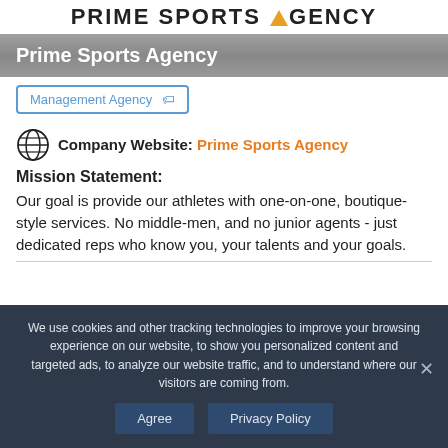[Figure (logo): Prime Sports Agency logo with orange triangle replacing the letter A]
Prime Sports Agency
Management Agency
Company Website: Prime Sports Agency
Mission Statement:
Our goal is provide our athletes with one-on-one, boutique-style services. No middle-men, and no junior agents - just dedicated reps who know you, your talents and your goals.
We use cookies and other tracking technologies to improve your browsing experience on our website, to show you personalized content and targeted ads, to analyze our website traffic, and to understand where our visitors are coming from.
Agree   Privacy Policy